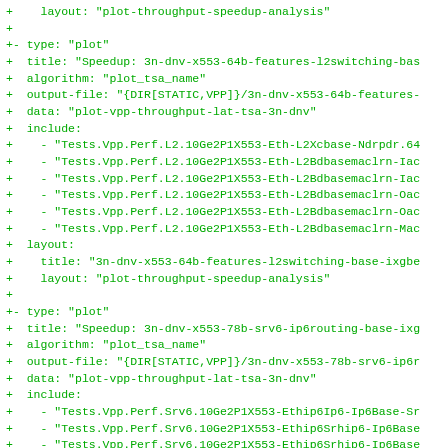Diff/code block showing YAML configuration entries for plot types with speedup analysis layout, including type, title, algorithm, output-file, data, include lists, and layout settings for 3n-dnv-x553 features.